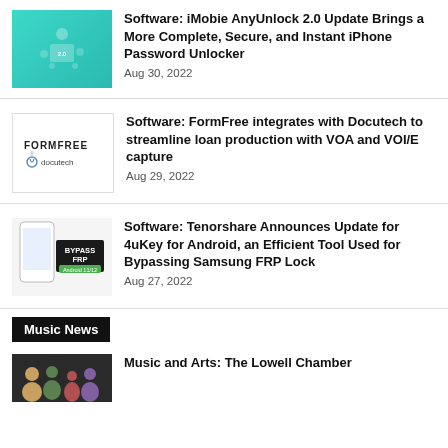[Figure (photo): Teal software product thumbnail for iMobie AnyUnlock 2.0]
Software: iMobie AnyUnlock 2.0 Update Brings a More Complete, Secure, and Instant iPhone Password Unlocker
Aug 30, 2022
[Figure (logo): FormFree and Docutech logos]
Software: FormFree integrates with Docutech to streamline loan production with VOA and VOI/E capture
Aug 29, 2022
[Figure (screenshot): Bypass FRP Android screenshot thumbnail]
Software: Tenorshare Announces Update for 4uKey for Android, an Efficient Tool Used for Bypassing Samsung FRP Lock
Aug 27, 2022
Music News
[Figure (photo): Music and Arts event thumbnail]
Music and Arts: The Lowell Chamber